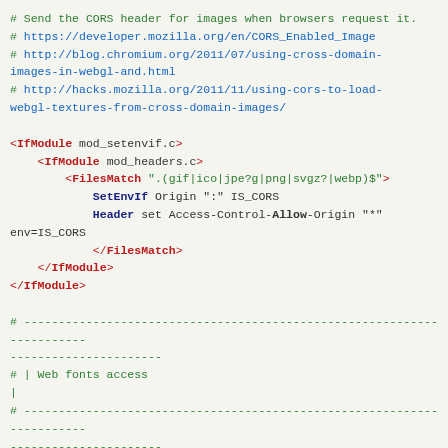# Send the CORS header for images when browsers request it.
# https://developer.mozilla.org/en/CORS_Enabled_Image
# http://blog.chromium.org/2011/07/using-cross-domain-images-in-webgl-and.html
# http://hacks.mozilla.org/2011/11/using-cors-to-load-webgl-textures-from-cross-domain-images/

<IfModule mod_setenvif.c>
    <IfModule mod_headers.c>
        <FilesMatch ".(gif|ico|jpe?g|png|svgz?|webp)$">
            SetEnvIf Origin ":" IS_CORS
            Header set Access-Control-Allow-Origin "*" env=IS_CORS
        </FilesMatch>
    </IfModule>
</IfModule>

# -----------------------------------------------------------------------
# | Web fonts access                                                     |
# -----------------------------------------------------------------------

# Allow access from all domains for web fonts

<IfModule mod_headers.c>